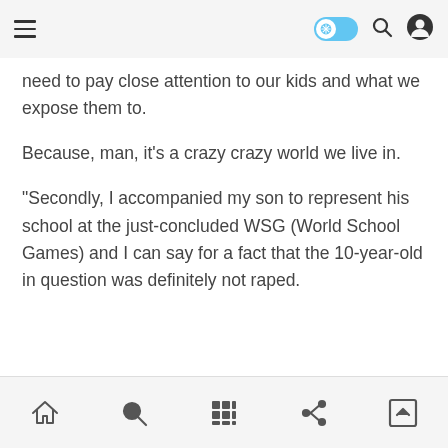Navigation bar with menu, toggle, search, and user icons
need to pay close attention to our kids and what we expose them to.
Because, man, it’s a crazy crazy world we live in.
"Secondly, I accompanied my son to represent his school at the just-concluded WSG (World School Games) and I can say for a fact that the 10-year-old in question was definitely not raped.
Bottom navigation bar with home, search, grid, share, and scroll-up icons